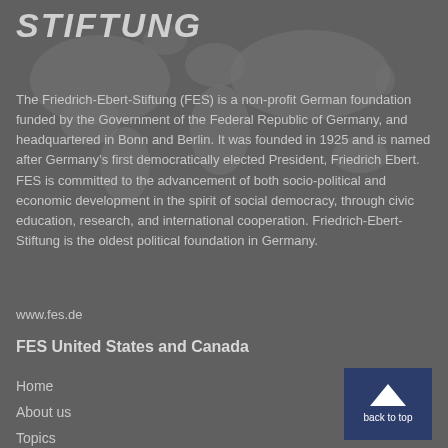STIFTUNG
[Figure (illustration): World map silhouette in dark grey as background decoration]
The Friedrich-Ebert-Stiftung (FES) is a non-profit German foundation funded by the Government of the Federal Republic of Germany, and headquartered in Bonn and Berlin. It was founded in 1925 and is named after Germany’s first democratically elected President, Friedrich Ebert. FES is committed to the advancement of both socio-political and economic development in the spirit of social democracy, through civic education, research, and international cooperation. Friedrich-Ebert-Stiftung is the oldest political foundation in Germany.
www.fes.de
FES United States and Canada
Home
About us
Topics